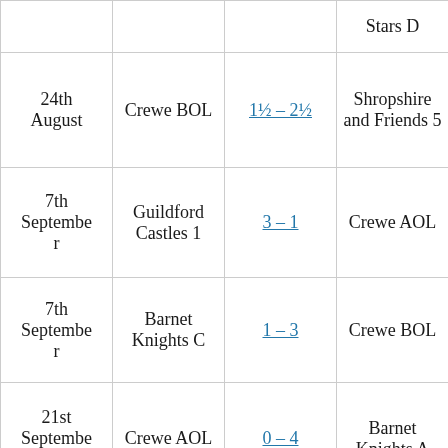| Date | Home | Score | Away |
| --- | --- | --- | --- |
|  |  |  | Stars D |
| 24th August | Crewe BOL | 1½ – 2½ | Shropshire and Friends 5 |
| 7th September | Guildford Castles 1 | 3 – 1 | Crewe AOL |
| 7th September | Barnet Knights C | 1 – 3 | Crewe BOL |
| 21st September | Crewe AOL | 0 – 4 | Barnet Knights A |
| 21st |  |  |  |